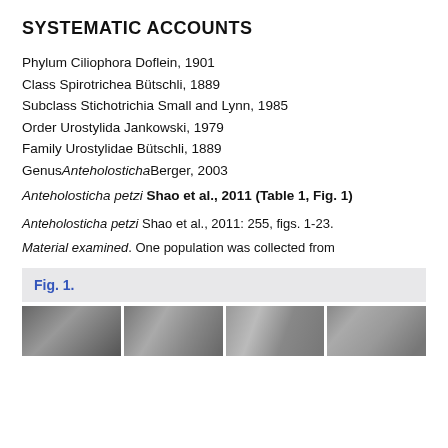SYSTEMATIC ACCOUNTS
Phylum Ciliophora Doflein, 1901
Class Spirotrichea Bütschli, 1889
Subclass Stichotrichia Small and Lynn, 1985
Order Urostylida Jankowski, 1979
Family Urostylidae Bütschli, 1889
Genus Anteholosticha Berger, 2003
Anteholosticha petzi Shao et al., 2011 (Table 1, Fig. 1)
Anteholosticha petzi Shao et al., 2011: 255, figs. 1-23.
Material examined. One population was collected from
Fig. 1.
[Figure (photo): Four grayscale microscope photographs of Anteholosticha petzi arranged in a horizontal strip]